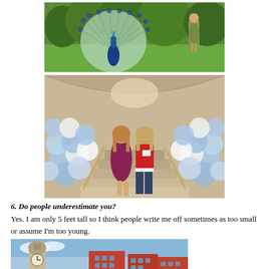[Figure (photo): A peacock with tail feathers fully spread in a garden, with a woman in a greenish dress walking in the background on a grassy lawn with trees.]
[Figure (photo): Two women standing on a staircase decorated with blue and white balloons on both sides. One woman wears a purple dress and the other wears a red top with dark jeans and a name badge.]
6. Do people underestimate you?
Yes. I am only 5 feet tall so I think people write me off sometimes as too small or assume I'm too young.
[Figure (photo): A partial view of a European-style building with a clock tower and brick facades, partially cut off at the bottom of the page.]